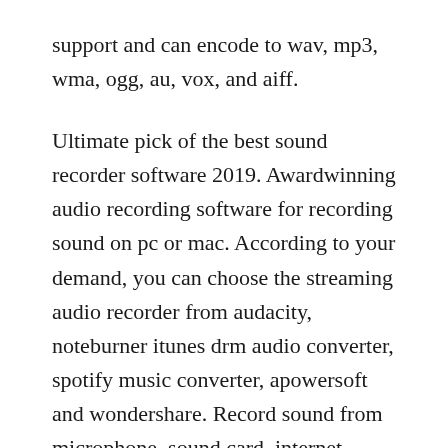support and can encode to wav, mp3, wma, ogg, au, vox, and aiff.
Ultimate pick of the best sound recorder software 2019. Awardwinning audio recording software for recording sound on pc or mac. According to your demand, you can choose the streaming audio recorder from audacity, noteburner itunes drm audio converter, spotify music converter, apowersoft and wondershare. Record sound from microphone, sound card, internet streaming audio to mp3 file. Activex control that adds sounds recording, sound